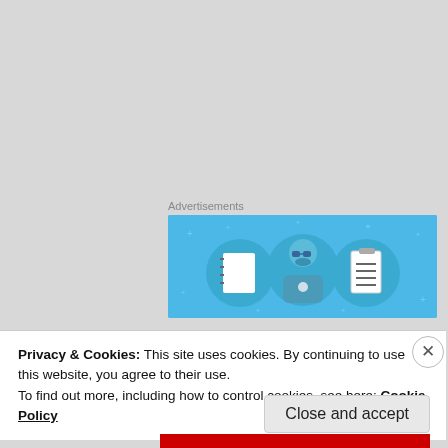Advertisements
[Figure (illustration): Blue advertisement banner with illustrated icons: a notebook, a person wearing glasses, and a clipboard with lines, on a light blue background with small dot decorations.]
[Figure (illustration): User avatar: blue and white geometric/snowflake pattern circle avatar for user 'benja']
benja
NOVEMBER 30, 2017 AT 4:51 PM
Privacy & Cookies: This site uses cookies. By continuing to use this website, you agree to their use.
To find out more, including how to control cookies, see here: Cookie Policy
Close and accept